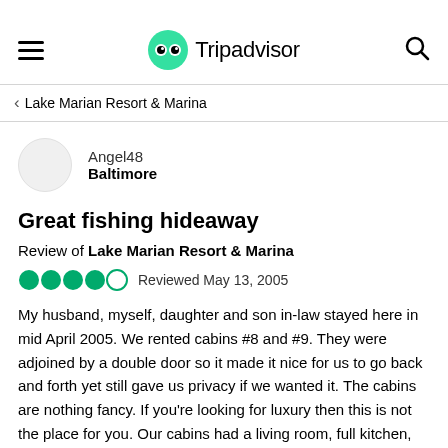Tripadvisor
< Lake Marian Resort & Marina
Angel48
Baltimore
Great fishing hideaway
Review of Lake Marian Resort & Marina
Reviewed May 13, 2005
My husband, myself, daughter and son in-law stayed here in mid April 2005. We rented cabins #8 and #9. They were adjoined by a double door so it made it nice for us to go back and forth yet still gave us privacy if we wanted it. The cabins are nothing fancy. If you're looking for luxury then this is not the place for you. Our cabins had a living room, full kitchen, separate bedroom, bath, a